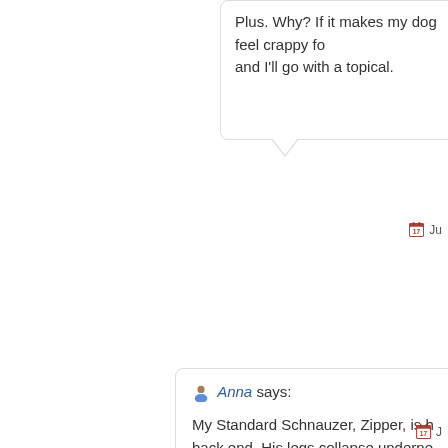Plus. Why? If it makes my dog feel crappy fo... and I'll go with a topical.
Ju...
Anna says: My Standard Schnauzer, Zipper, is h... back end. His legs collapse underne... symptoms with his back end that p... loose stools. His symptoms started ... having detox treatment done by m... permanent? I feel like I've poisoned...
J...